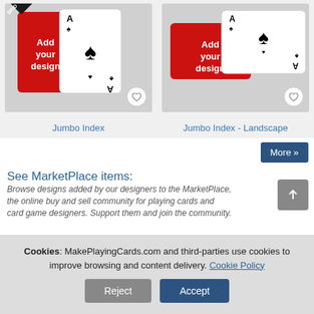[Figure (photo): Product card showing custom playing cards - Jumbo Index design with red back card and Ace of Spades]
Jumbo Index
[Figure (photo): Product card showing custom playing cards - Jumbo Index Landscape design with red back card and Ace of Spades]
Jumbo Index - Landscape
More »
See MarketPlace items:
Browse designs added by our designers to the MarketPlace, the online buy and sell community for playing cards and card game designers. Support them and join the community.
Cookies: MakePlayingCards.com and third-parties use cookies to improve browsing and content delivery. Cookie Policy
Reject
Accept